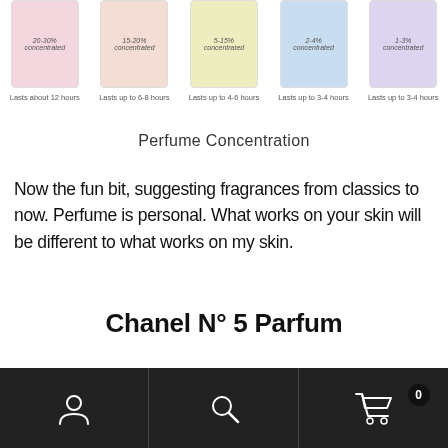[Figure (illustration): Five perfume bottle illustrations in a row, each with a colored background (pink, peach, yellow, light blue, lavender) showing concentration percentages: 20-30% concentrated, 15-20% concentrated, 5-15% concentrated, 2-4% concentrated, 1-3% concentrated. Each is labeled with duration: Lasts about 12 hours, Lasts up to 6-8 hours, Lasts up to 4-6 hours, Lasts up to 3-4 hours, Lasts up to 3-4 hours.]
Perfume Concentration
Now the fun bit, suggesting fragrances from classics to now. Perfume is personal. What works on your skin will be different to what works on my skin.
Chanel N° 5 Parfum
[Figure (photo): Partial photo of Chanel No. 5 Parfum product box and bottle at the bottom of the page.]
Navigation bar with user account icon, search icon, and shopping cart icon with badge showing 0